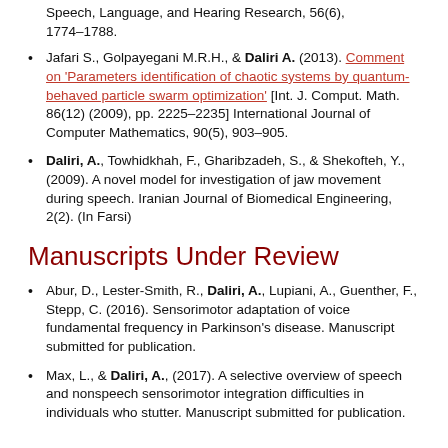Speech, Language, and Hearing Research, 56(6), 1774–1788.
Jafari S., Golpayegani M.R.H., & Daliri A. (2013). Comment on 'Parameters identification of chaotic systems by quantum-behaved particle swarm optimization' [Int. J. Comput. Math. 86(12) (2009), pp. 2225–2235] International Journal of Computer Mathematics, 90(5), 903–905.
Daliri, A., Towhidkhah, F., Gharibzadeh, S., & Shekofteh, Y., (2009). A novel model for investigation of jaw movement during speech. Iranian Journal of Biomedical Engineering, 2(2). (In Farsi)
Manuscripts Under Review
Abur, D., Lester-Smith, R., Daliri, A., Lupiani, A., Guenther, F., Stepp, C. (2016). Sensorimotor adaptation of voice fundamental frequency in Parkinson's disease. Manuscript submitted for publication.
Max, L., & Daliri, A., (2017). A selective overview of speech and nonspeech sensorimotor integration difficulties in individuals who stutter. Manuscript submitted for publication.